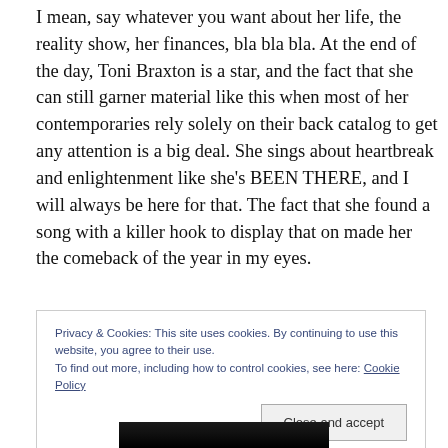I mean, say whatever you want about her life, the reality show, her finances, bla bla bla. At the end of the day, Toni Braxton is a star, and the fact that she can still garner material like this when most of her contemporaries rely solely on their back catalog to get any attention is a big deal. She sings about heartbreak and enlightenment like she's BEEN THERE, and I will always be here for that. The fact that she found a song with a killer hook to display that on made her the comeback of the year in my eyes.
Privacy & Cookies: This site uses cookies. By continuing to use this website, you agree to their use.
To find out more, including how to control cookies, see here: Cookie Policy
Close and accept
[Figure (photo): Dark/black background image partially visible at the bottom of the page]